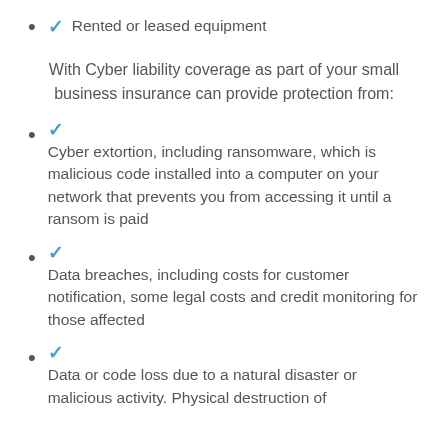✓ Rented or leased equipment
With Cyber liability coverage as part of your small business insurance can provide protection from:
Cyber extortion, including ransomware, which is malicious code installed into a computer on your network that prevents you from accessing it until a ransom is paid
Data breaches, including costs for customer notification, some legal costs and credit monitoring for those affected
Data or code loss due to a natural disaster or malicious activity. Physical destruction of